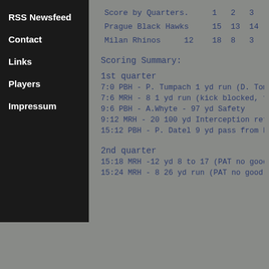RSS Newsfeed
Contact
Links
Players
Impressum
| Score by Quarters. | 1 | 2 | 3 |
| --- | --- | --- | --- |
| Prague Black Hawks | 15 | 13 | 14 |
| Milan Rhinos | 12 | 18 | 8 | 3 |
Scoring Summary:
1st quarter
7:0      PBH - P. Tumpach 1 yd run (D. TomanÅ
7:6      MRH - 8 1 yd run (kick blocked, fumb
9:6      PBH - A.Whyte - 97 yd Safety
9:12     MRH - 20 100 yd Interception return
15:12    PBH - P. Datel 9 yd pass from F.Garz
2nd quarter
15:18    MRH -12 yd 8 to 17 (PAT no good)
15:24    MRH - 8 26 yd run (PAT no good)